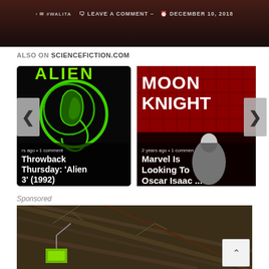[Figure (screenshot): Top banner with dark reddish background, showing username walita, leave a comment link, and date December 10, 2018]
ALSO ON SCIENCEFICTION.COM
[Figure (photo): Card showing Alien 3 1992 movie artwork with green alien circle logo on black background. Title: Throwback Thursday: 'Alien 3' (1992). Meta: rs ago • 1 comment]
[Figure (photo): Card showing Moon Knight comic book cover with red grid background and Moon Knight figure. Title: Marvel Is Looking To Oscar Isaac .... Meta: 2 years ago • 1 comment]
Sponsored
[Figure (photo): Sponsored image showing an aerial/outdoor scene with dark brown earthy tones and a green luminescent square element in the lower left area.]